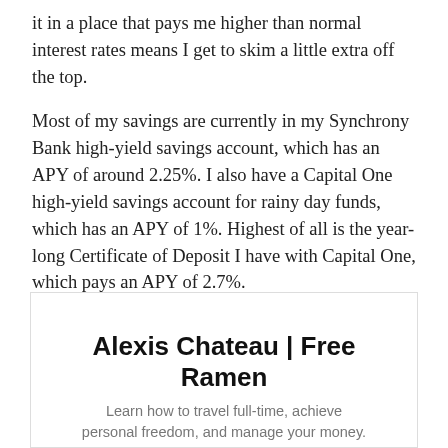it in a place that pays me higher than normal interest rates means I get to skim a little extra off the top.
Most of my savings are currently in my Synchrony Bank high-yield savings account, which has an APY of around 2.25%. I also have a Capital One high-yield savings account for rainy day funds, which has an APY of 1%. Highest of all is the year-long Certificate of Deposit I have with Capital One, which pays an APY of 2.7%.
[Figure (other): Email newsletter signup widget for 'Alexis Chateau | Free Ramen' with tagline 'Learn how to travel full-time, achieve personal freedom, and manage your money.' and an email input field with a yellow Subscribe button.]